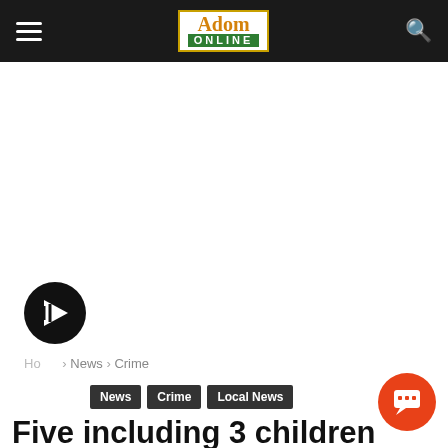Adom Online
Home › News › Crime
News  Crime  Local News
Five including 3 children